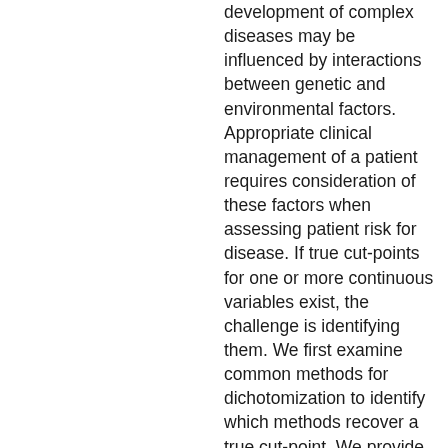development of complex diseases may be influenced by interactions between genetic and environmental factors. Appropriate clinical management of a patient requires consideration of these factors when assessing patient risk for disease. If true cut-points for one or more continuous variables exist, the challenge is identifying them. We first examine common methods for dichotomization to identify which methods recover a true cut-point. We provide mathematical and numeric proofs demonstrating that